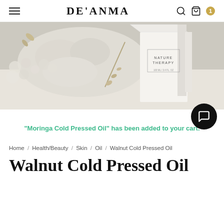DE'ANMA — navigation bar with hamburger menu, brand name, search icon, bag icon, cart count 1
[Figure (photo): Overhead white aesthetic product photo showing a white 'Nature Therapy' skincare box on a textured white surface with dried floral elements]
“Moringa Cold Pressed Oil” has been added to your cart.
Home / Health/Beauty / Skin / Oil / Walnut Cold Pressed Oil
Walnut Cold Pressed Oil